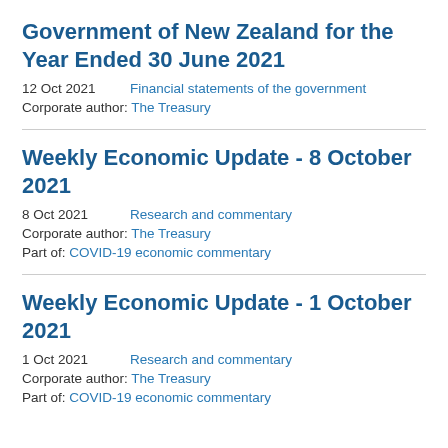Government of New Zealand for the Year Ended 30 June 2021
12 Oct 2021    Financial statements of the government
Corporate author: The Treasury
Weekly Economic Update - 8 October 2021
8 Oct 2021    Research and commentary
Corporate author: The Treasury
Part of: COVID-19 economic commentary
Weekly Economic Update - 1 October 2021
1 Oct 2021    Research and commentary
Corporate author: The Treasury
Part of: COVID-19 economic commentary